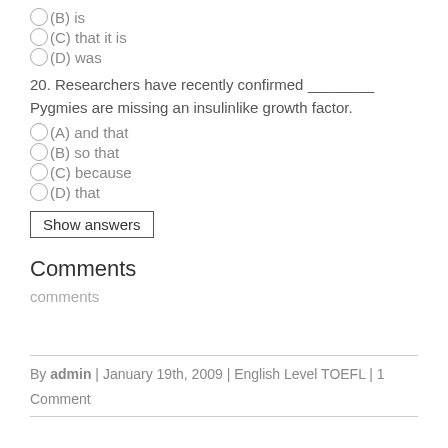(B) is
(C) that it is
(D) was
20. Researchers have recently confirmed ________ Pygmies are missing an insulinlike growth factor.
(A) and that
(B) so that
(C) because
(D) that
Show answers
Comments
comments
By admin | January 19th, 2009 | English Level TOEFL | 1 Comment